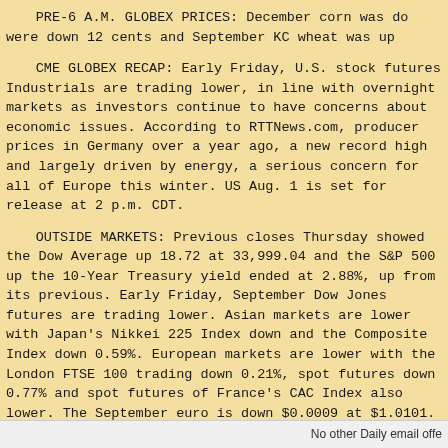PRE-6 A.M. GLOBEX PRICES: December corn was down 12 cents and September KC wheat was up
CME GLOBEX RECAP: Early Friday, U.S. stock futures Industrials are trading lower, in line with overseas markets as investors continue to have concerns about economic issues. According to RTTNews.com, producer prices in Germany year ago, a new record high and largely driven by a serious concern for all of Europe this winter. US Aug. 1 is set for release at 2 p.m. CDT.
OUTSIDE MARKETS: Previous closes Thursday showed Average up 18.72 at 33,999.04 and the S&P 500 up 10-Year Treasury yield ended at 2.88%, up from it Early Friday, September Dow Jones futures are trading markets are lower with Japan's Nikkei 225 Index down Composite Index down 0.59%. European markets are lower with the London FTSE 100 trading down 0.21%, spot futures down 0.77% and spot futures of France's CAC Index September euro is down $0.0009 at $1.0101. The September up 0.23 at 107.65. The September 30-year T-bond December gold is down $4.40 at $1,766.80 and September at $89.54. On China's Dalian exchange, January corn soybeans were up 0.2%, January soybean meal was up was down 0.6%. November Malaysian palm oil is trading
No other Daily email offe